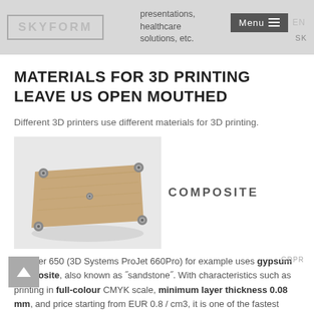SKYFORM | presentations, healthcare solutions, etc. | EN | SK | Menu
MATERIALS FOR 3D PRINTING LEAVE US OPEN MOUTHED
Different 3D printers use different materials for 3D printing.
[Figure (photo): A rectangular composite material sample with metal corner bolts/connectors on a neutral background, labeled COMPOSITE]
ZPrinter 650 (3D Systems ProJet 660Pro) for example uses gypsum composite, also known as "sandstone". With characteristics such as printing in full-colour CMYK scale, minimum layer thickness 0.08 mm, and price starting from EUR 0.8 / cm3, it is one of the fastest professional 3D